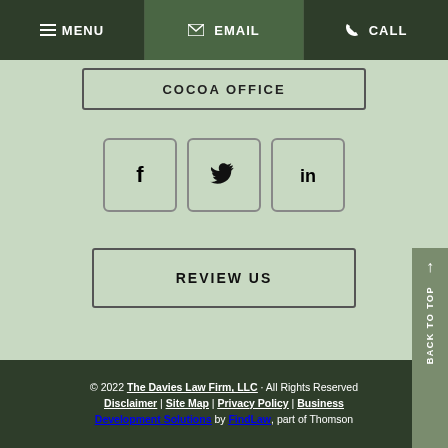MENU | EMAIL | CALL
COCOA OFFICE
[Figure (other): Three social media icon buttons: Facebook (f), Twitter (bird), LinkedIn (in)]
REVIEW US
© 2022 The Davies Law Firm, LLC · All Rights Reserved Disclaimer | Site Map | Privacy Policy | Business Development Solutions by FindLaw, part of Thomson